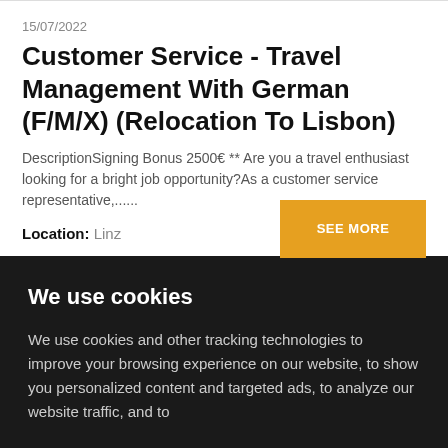15/07/2022
Customer Service - Travel Management With German (F/M/X) (Relocation To Lisbon)
DescriptionSigning Bonus 2500&euro; ** Are you a travel enthusiast looking for a bright job opportunity?As a customer service representative,......
Location: Linz
We use cookies
We use cookies and other tracking technologies to improve your browsing experience on our website, to show you personalized content and targeted ads, to analyze our website traffic, and to